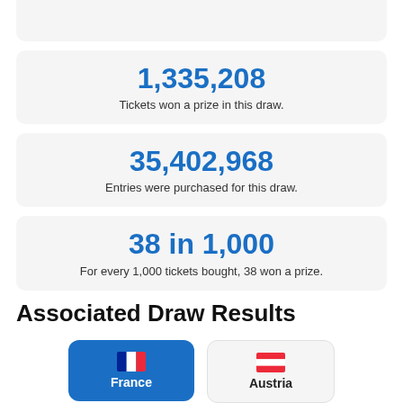[Figure (other): Partial top card with logo/icon partially visible at top of page]
1,335,208
Tickets won a prize in this draw.
35,402,968
Entries were purchased for this draw.
38 in 1,000
For every 1,000 tickets bought, 38 won a prize.
Associated Draw Results
[Figure (other): France country button with French flag icon, blue background]
[Figure (other): Austria country button with Austrian flag icon, white background]